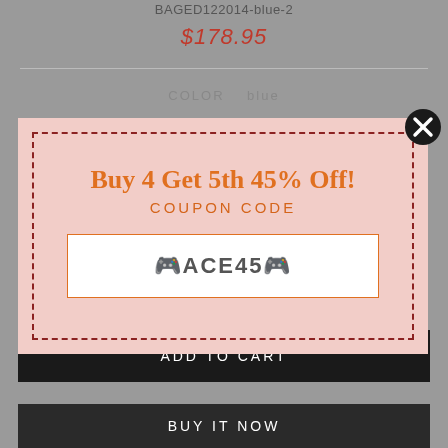BAGED122014-blue-2
$178.95
COLOR   blue
[Figure (infographic): Promotional popup overlay with pink background and dashed dark red border. Contains orange bold serif text 'Buy 4 Get 5th 45% Off!' and 'COUPON CODE' in spaced orange letters, and a white box with coupon code '🎮ACE45🎮' (shown as special characters around ACE45).]
ADD TO CART
BUY IT NOW